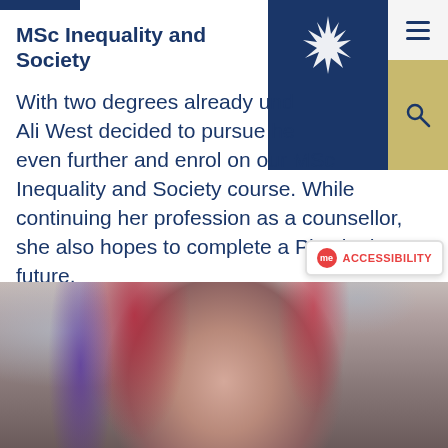MSc Inequality and Society
With two degrees already under her belt, Ali West decided to pursue her studies even further and enrol on our MSc Inequality and Society course. While continuing her profession as a counsellor, she also hopes to complete a PhD in the future.
[Figure (photo): Portrait photo of Ali West, a woman with red and purple/blue hair, smiling slightly, cropped to show face and top of shoulders against a blurred background.]